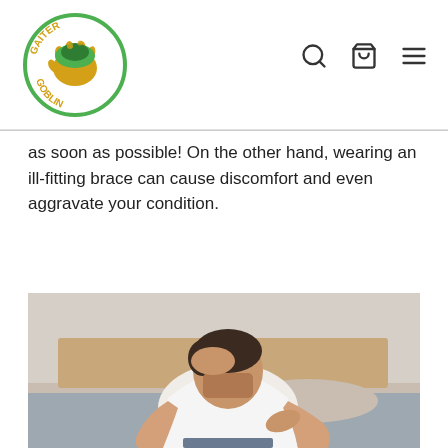Gaiter Goblin — navigation header with logo, search, cart, and menu icons
as soon as possible! On the other hand, wearing an ill-fitting brace can cause discomfort and even aggravate your condition.
[Figure (photo): A man sitting on a bed in distress, wearing a white t-shirt, holding his head with one hand and his back with the other, appearing to be in pain.]